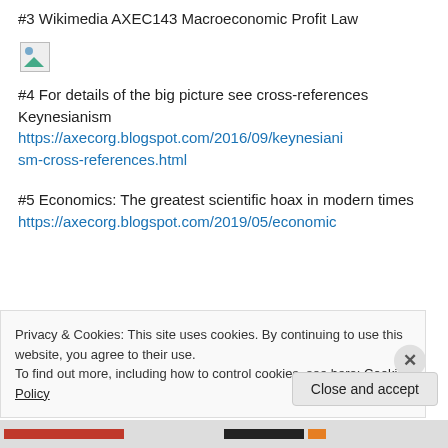#3 Wikimedia AXEC143 Macroeconomic Profit Law
[Figure (other): Broken/missing image placeholder]
#4 For details of the big picture see cross-references Keynesianism https://axecorg.blogspot.com/2016/09/keynesianism-cross-references.html
#5 Economics: The greatest scientific hoax in modern times https://axecorg.blogspot.com/2019/05/economic
Privacy & Cookies: This site uses cookies. By continuing to use this website, you agree to their use.
To find out more, including how to control cookies, see here: Cookie Policy
Close and accept